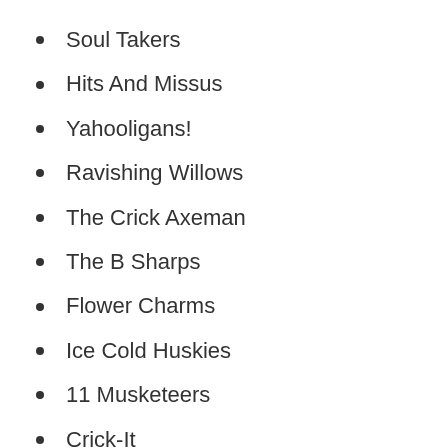Soul Takers
Hits And Missus
Yahooligans!
Ravishing Willows
The Crick Axeman
The B Sharps
Flower Charms
Ice Cold Huskies
11 Musketeers
Crick-It
Fire Hunks
Toe Crusher Crew
The Mo...